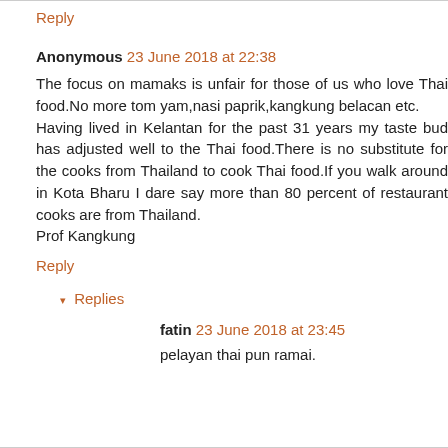Reply
Anonymous 23 June 2018 at 22:38
The focus on mamaks is unfair for those of us who love Thai food.No more tom yam,nasi paprik,kangkung belacan etc.
Having lived in Kelantan for the past 31 years my taste bud has adjusted well to the Thai food.There is no substitute for the cooks from Thailand to cook Thai food.If you walk around in Kota Bharu I dare say more than 80 percent of restaurant cooks are from Thailand.
Prof Kangkung
Reply
Replies
fatin 23 June 2018 at 23:45
pelayan thai pun ramai.